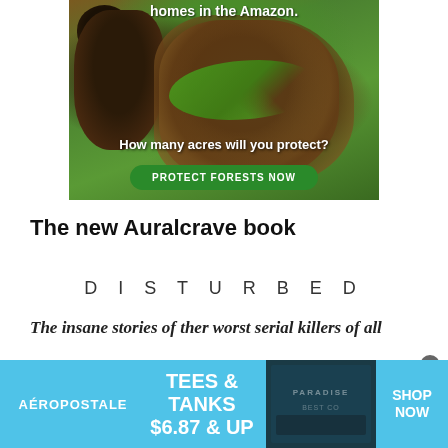[Figure (photo): Advertisement showing two monkeys (titi monkeys) in the Amazon rainforest on green bamboo branches, with text overlay 'homes in the Amazon.' at top and 'How many acres will you protect?' in the middle, and a green 'PROTECT FORESTS NOW' button at the bottom.]
The new Auralcrave book
D I S T U R B E D
The insane stories of ther worst serial killers of all
[Figure (photo): Aéropostale advertisement banner with light blue background showing 'AÉROPOSTALE' brand name on left, 'TEES & TANKS $6.87 & UP' text in center, a photo of folded clothing items with 'PARADISE' text visible, and 'SHOP NOW' text on right. An X close button is visible in top right corner.]